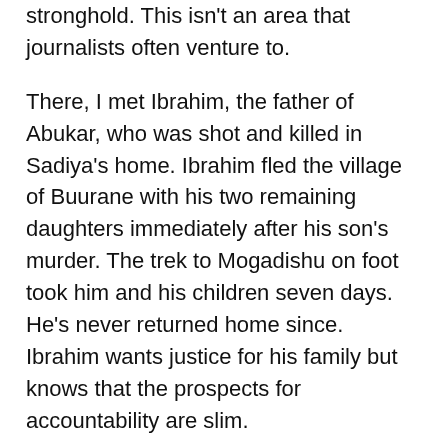stronghold. This isn't an area that journalists often venture to.
There, I met Ibrahim, the father of Abukar, who was shot and killed in Sadiya's home. Ibrahim fled the village of Buurane with his two remaining daughters immediately after his son's murder. The trek to Mogadishu on foot took him and his children seven days. He's never returned home since. Ibrahim wants justice for his family but knows that the prospects for accountability are slim.
Prosecuting African Union soldiers for atrocities in Somalia is nearly impossible, as the Somali Government has no jurisdiction over the multi-national coalition troops on their soil, which are funded by the European Union and supervised by the US and UK.